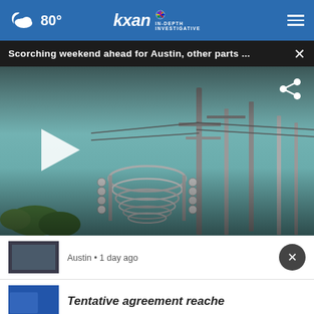80° kxan IN-DEPTH INVESTIGATIVE
Scorching weekend ahead for Austin, other parts ...  ×
[Figure (photo): Electrical power substation with transmission towers, insulators, and high-voltage equipment against a teal-blue sky. A white play button triangle is overlaid on the left side.]
Austin • 1 day ago
Tentative agreement reache...
[Figure (photo): Ad banner: ad council logo, FIND RESOURCES button, person in dark clothing, VA logo on black background]